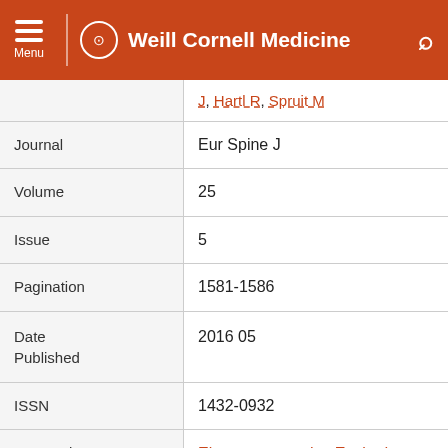Weill Cornell Medicine
| Field | Value |
| --- | --- |
|  | J, Hartl R, Spruit M |
| Journal | Eur Spine J |
| Volume | 25 |
| Issue | 5 |
| Pagination | 1581-1586 |
| Date Published | 2016 05 |
| ISSN | 1432-0932 |
| Keywords | Electromyography, Evoked Potentials, Motor, Female, Humans, Intraoperative Complications, Intraoperative |